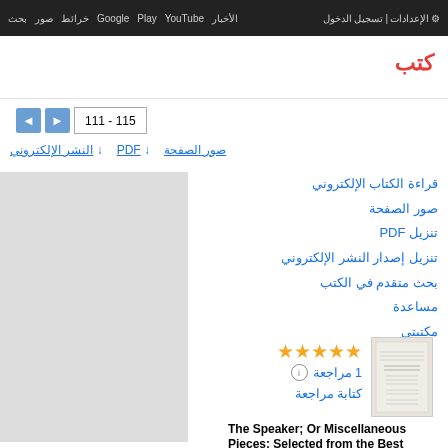بحث صور خرائط Google Play YouTube الأخبار تسجيل الدخول الإعدادات
كتب
111 - 115
صور الصفحة   ↓ PDF   ↓ النشر الإلكتروني
[Figure (other): Gray book thumbnail area]
قراءة الكتاب الإلكتروني
صور الصفحة
تنزيل PDF
تنزيل إصدار النشر الإلكتروني
بحث متقدم في الكتب
مساعدة
مكتبتي
★★★★★ 1 مراجعة
كتابة مراجعة
[Figure (illustration): Small book cover image of The Speaker]
The Speaker; Or Miscellaneous Pieces: Selected from the Best English